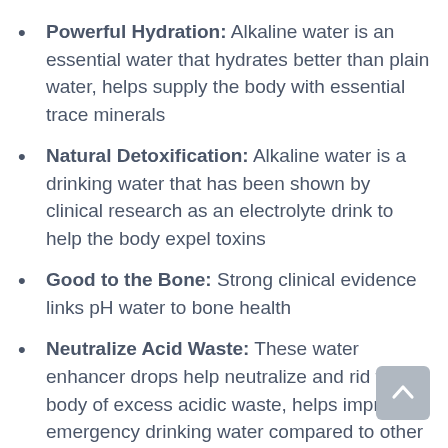Powerful Hydration: Alkaline water is an essential water that hydrates better than plain water, helps supply the body with essential trace minerals
Natural Detoxification: Alkaline water is a drinking water that has been shown by clinical research as an electrotlyte drink to help the body expel toxins
Good to the Bone: Strong clinical evidence links pH water to bone health
Neutralize Acid Waste: These water enhancer drops help neutralize and rid the body of excess acidic waste, helps improve emergency drinking water compared to other alkaline water drops, water purification tablets for drinking and sweetleaf water drops
Choose DoctorCare Plus: We are your source for